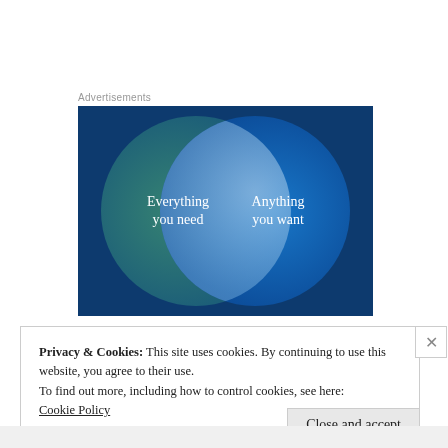Advertisements
[Figure (illustration): Venn diagram advertisement with two overlapping circles on a dark blue/teal background. Left circle (teal/green) labeled 'Everything you need', right circle (blue) labeled 'Anything you want', overlapping area is lighter blue.]
Privacy & Cookies: This site uses cookies. By continuing to use this website, you agree to their use.
To find out more, including how to control cookies, see here:
Cookie Policy
Close and accept